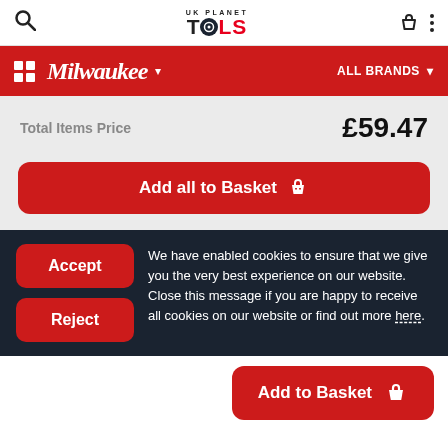[Figure (screenshot): UK Planet Tools website header with search icon, logo, bag icon, and menu dots]
[Figure (screenshot): Milwaukee brand bar with grid icon, Milwaukee logo, dropdown arrow, and ALL BRANDS dropdown]
Total Items Price £59.47
Add all to Basket
Accept
Reject
We have enabled cookies to ensure that we give you the very best experience on our website. Close this message if you are happy to receive all cookies on our website or find out more here.
Add to Basket